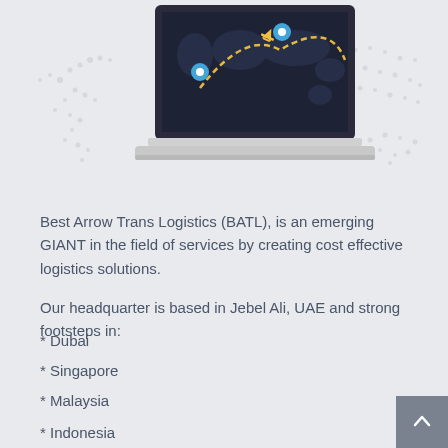[Figure (illustration): Laptop screen showing a dark world map with dashed yellow flight path, yellow airplane icon, and two blue location pin markers. World map dotted outline visible in background behind the laptop.]
Best Arrow Trans Logistics (BATL), is an emerging GIANT in the field of services by creating cost effective logistics solutions.
Our headquarter is based in Jebel Ali, UAE and strong footsteps in:
* Dubai
* Singapore
* Malaysia
* Indonesia